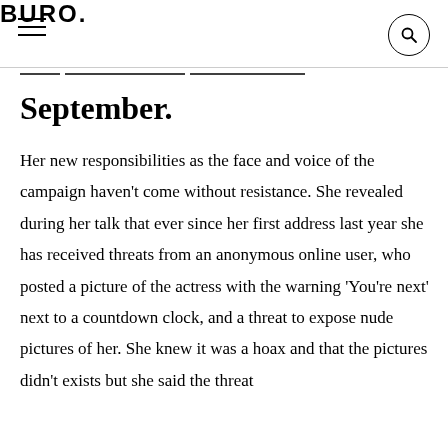BURO.
September.
Her new responsibilities as the face and voice of the campaign haven't come without resistance. She revealed during her talk that ever since her first address last year she has received threats from an anonymous online user, who posted a picture of the actress with the warning 'You're next' next to a countdown clock, and a threat to expose nude pictures of her. She knew it was a hoax and that the pictures didn't exists but she said the threat